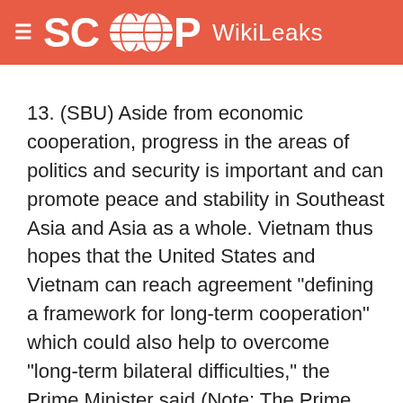SCOOP WikiLeaks
13. (SBU) Aside from economic cooperation, progress in the areas of politics and security is important and can promote peace and stability in Southeast Asia and Asia as a whole. Vietnam thus hopes that the United States and Vietnam can reach agreement "defining a framework for long-term cooperation" which could also help to overcome "long-term bilateral difficulties," the Prime Minister said (Note: The Prime Minister raised this "framework" during